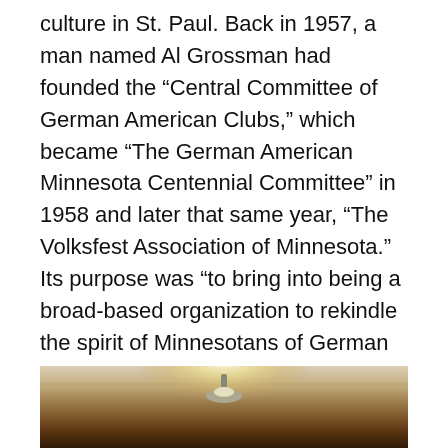culture in St. Paul. Back in 1957, a man named Al Grossman had founded the “Central Committee of German American Clubs,” which became “The German American Minnesota Centennial Committee” in 1958 and later that same year, “The Volksfest Association of Minnesota.” Its purpose was “to bring into being a broad-based organization to rekindle the spirit of Minnesotans of German origin and to provide a vehicle for recreating the ‘gemuetlichkeit’ of the past and for focusing attention on the cultural, historic, and social contributions of Germany to America,” after the two world wars had given Germany and Germans a very negative image in this country. “Gemuetlichkeit” is a German word meaning cordiality, friendliness, a feeling of warmth and good cheer.
[Figure (photo): Interior ceiling photograph showing a light fixture against a wooden or paneled ceiling, partially visible at the bottom of the page.]